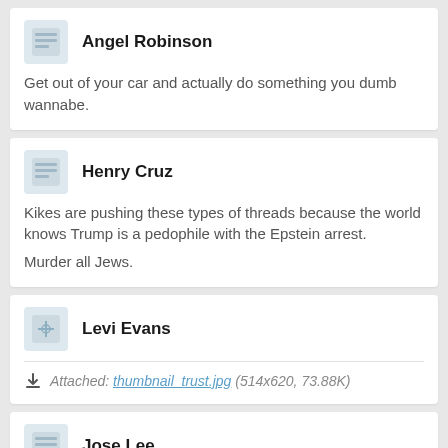Angel Robinson
Get out of your car and actually do something you dumb wannabe.
Henry Cruz
Kikes are pushing these types of threads because the world knows Trump is a pedophile with the Epstein arrest.
Murder all Jews.
Levi Evans
Attached: thumbnail_trust.jpg (514x620, 73.88K)
Jose Lee